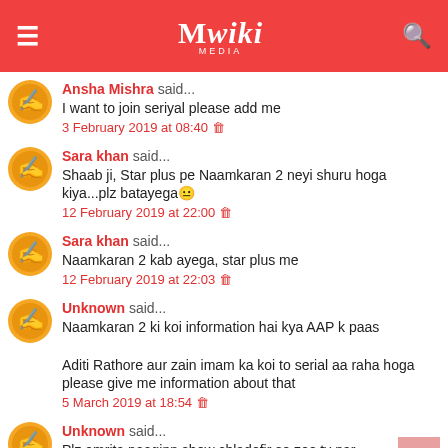Mwiki
Ansha Mishra said... I want to join seriyal please add me — 3 February 2019 at 08:40
Sara khan said... Shaab ji, Star plus pe Naamkaran 2 neyi shuru hoga kiya...plz batayega😊 — 12 February 2019 at 22:00
Sara khan said... Naamkaran 2 kab ayega, star plus me — 12 February 2019 at 22:03
Unknown said... Naamkaran 2 ki koi information hai kya AAP k paas

Aditi Rathore aur zain imam ka koi to serial aa raha hoga please give me information about that — 5 March 2019 at 18:54
Unknown said... Plz amrita naaginn show chladofir se zee tv par — 15 March 2019 at 03:59
Unknown said...